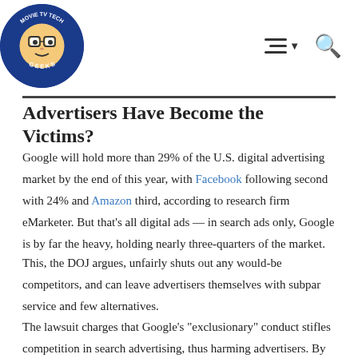Movie TV Tech Geeks [logo] [hamburger menu] [search icon]
Advertisers Have Become the Victims?
Google will hold more than 29% of the U.S. digital advertising market by the end of this year, with Facebook following second with 24% and Amazon third, according to research firm eMarketer. But that’s all digital ads — in search ads only, Google is by far the heavy, holding nearly three-quarters of the market.
This, the DOJ argues, unfairly shuts out any would-be competitors, and can leave advertisers themselves with subpar service and few alternatives.
The lawsuit charges that Google’s “exclusionary” conduct stifles competition in search advertising, thus harming advertisers. By suppressing competition, Google has more power to manipulate the